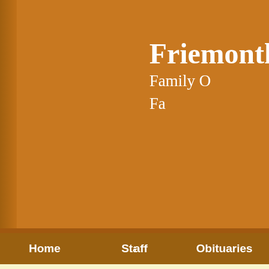Friemont
Family O
Fa
Home    Staff    Obituaries
Obituary for W
March 23,1925 T
Visi
5-7 PM, Sunday, August 6, 2017 a
Gla
Funera
11 AM, Monday, August 7, 2017 at t